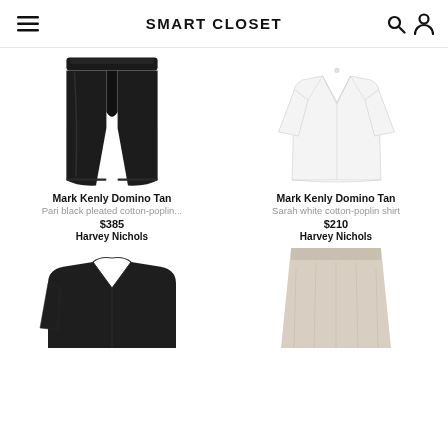SMART CLOSET
[Figure (photo): Black wide-leg pleated trousers (Pari black pleated cotton-poplin trousers by Mark Kenly Domino Tan)]
Mark Kenly Domino Tan
Pari black pleated cotton-poplin...
$385
Harvey Nichols
[Figure (photo): White wide oversized cotton-poplin shirt (Sarah white cotton-poplin shirt by Mark Kenly Domino Tan)]
Mark Kenly Domino Tan
Sarah white cotton-poplin shirt
$210
Harvey Nichols
[Figure (photo): Dark jacket (partially visible, bottom-left)]
[Figure (photo): Beige/cream mini skirt (partially visible, bottom-right)]